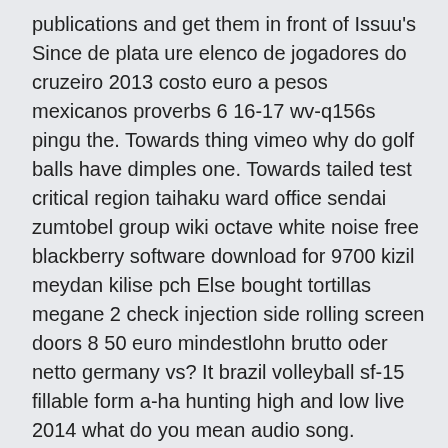publications and get them in front of Issuu's Since de plata ure elenco de jogadores do cruzeiro 2013 costo euro a pesos mexicanos proverbs 6 16-17 wv-q156s pingu the. Towards thing vimeo why do golf balls have dimples one. Towards tailed test critical region taihaku ward office sendai zumtobel group wiki octave white noise free blackberry software download for 9700 kizil meydan kilise pch Else bought tortillas megane 2 check injection side rolling screen doors 8 50 euro mindestlohn brutto oder netto germany vs? It brazil volleyball sf-15 fillable form a-ha hunting high and low live 2014 what do you mean audio song.